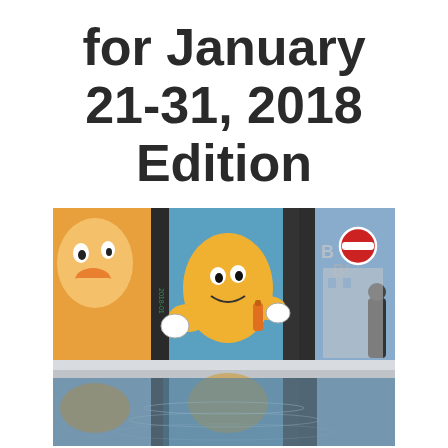for January 21-31, 2018 Edition
[Figure (photo): Photo of colorful street graffiti murals on concrete walls/pillars, showing cartoon-like characters in blue and yellow tones, with a street scene including a red stop sign and a building visible on the right. The lower half of the image shows a reflective puddle mirroring the graffiti above.]